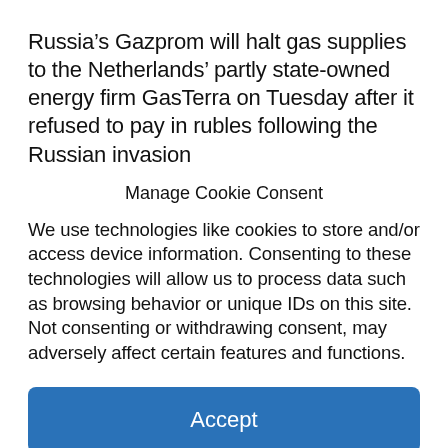Russia’s Gazprom will halt gas supplies to the Netherlands’ partly state-owned energy firm GasTerra on Tuesday after it refused to pay in rubles following the Russian invasion
Manage Cookie Consent
We use technologies like cookies to store and/or access device information. Consenting to these technologies will allow us to process data such as browsing behavior or unique IDs on this site. Not consenting or withdrawing consent, may adversely affect certain features and functions.
Accept
Cookie Policy